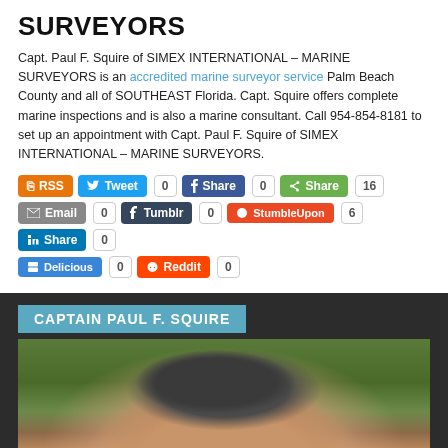SURVEYORS
Capt. Paul F. Squire of SIMEX INTERNATIONAL – MARINE SURVEYORS is an accredited marine surveyor service Palm Beach County and all of SOUTHEAST Florida. Capt. Squire offers complete marine inspections and is also a marine consultant. Call 954-854-8181 to set up an appointment with Capt. Paul F. Squire of SIMEX INTERNATIONAL – MARINE SURVEYORS.
[Figure (screenshot): Social sharing buttons row 1: RSS, Tweet (0), Share Facebook (0), Share green (16)]
[Figure (screenshot): Social sharing buttons row 2: Email (0), Tumblr (0), StumbleUpon (6), LinkedIn Share (0)]
[Figure (screenshot): Social sharing buttons row 3: Delicious (0), Reddit (0)]
CAPTAIN PAUL F. SQUIRE
[Figure (photo): Close-up photo of Captain Paul F. Squire, showing top of head with grey curly hair against green foliage background]